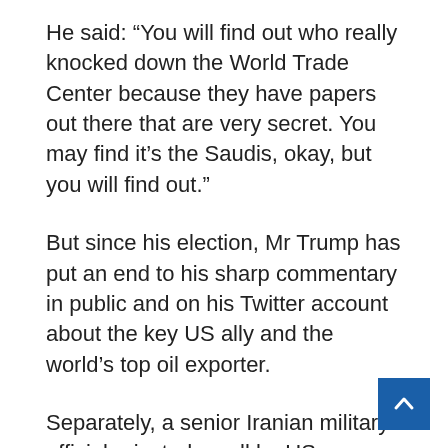He said: “You will find out who really knocked down the World Trade Center because they have papers out there that are very secret. You may find it’s the Saudis, okay, but you will find out.”
But since his election, Mr Trump has put an end to his sharp commentary in public and on his Twitter account about the key US ally and the world’s top oil exporter.
Separately, a senior Iranian military official rejected a call by US Secretary of State Rex Tillerson for newly re- elected Iranian President Hassan Rouhani to end Tehran’s